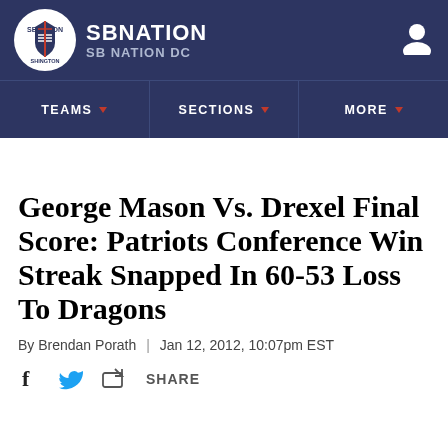SBNATION / SB NATION DC
TEAMS | SECTIONS | MORE
George Mason Vs. Drexel Final Score: Patriots Conference Win Streak Snapped In 60-53 Loss To Dragons
By Brendan Porath | Jan 12, 2012, 10:07pm EST